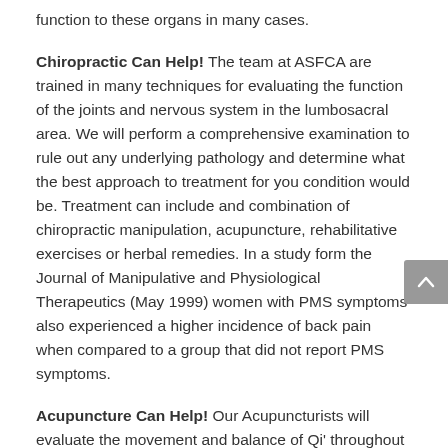function to these organs in many cases.
Chiropractic Can Help! The team at ASFCA are trained in many techniques for evaluating the function of the joints and nervous system in the lumbosacral area. We will perform a comprehensive examination to rule out any underlying pathology and determine what the best approach to treatment for you condition would be. Treatment can include and combination of chiropractic manipulation, acupuncture, rehabilitative exercises or herbal remedies. In a study form the Journal of Manipulative and Physiological Therapeutics (May 1999) women with PMS symptoms also experienced a higher incidence of back pain when compared to a group that did not report PMS symptoms.
Acupuncture Can Help! Our Acupuncturists will evaluate the movement and balance of Qi' throughout the body. Seeking disturbances that